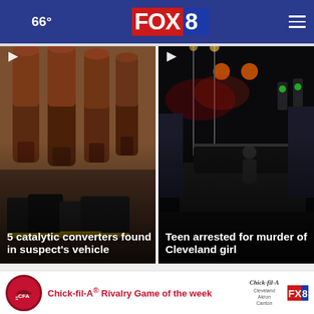66° FOX 8
[Figure (photo): 5 catalytic converters found in suspect's vehicle — photo of several catalytic converters and gloves on a surface]
[Figure (photo): Teen arrested for murder of Cleveland girl — nighttime street scene with police and vehicles]
Top Stories >
[Figure (infographic): Advertisement: Chick-fil-A Rivalry Game of the week, featuring Chick-fil-A Cleveland Akron Canton logos]